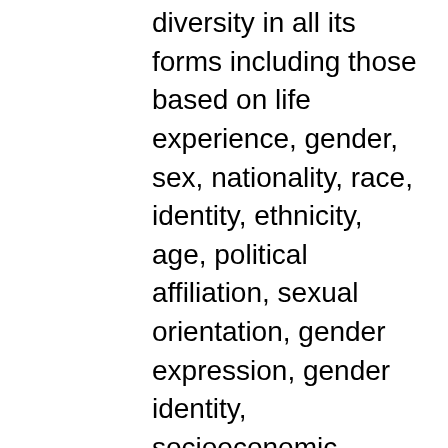diversity in all its forms including those based on life experience, gender, sex, nationality, race, identity, ethnicity, age, political affiliation, sexual orientation, gender expression, gender identity, socioeconomic status, veteran status, disability, neurodiversity, and religion. Auburn will actively cultivate a community where all members are valued, respected and can thrive personally and professionally.  Auburn will invest substantial resources to increase